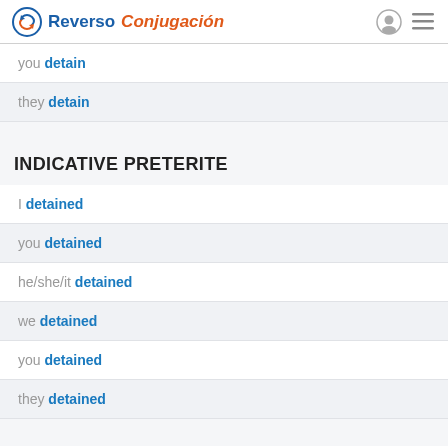Reverso Conjugación
you detain
they detain
INDICATIVE PRETERITE
I detained
you detained
he/she/it detained
we detained
you detained
they detained